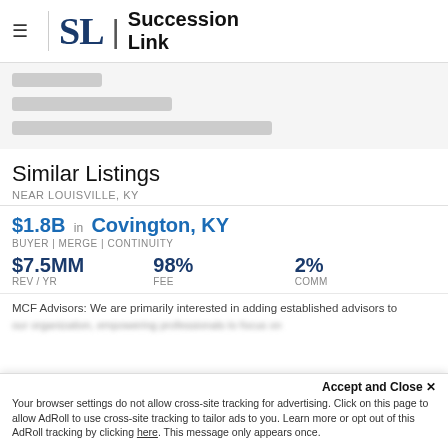SL | Succession Link
[Figure (other): Blurred/redacted content fields showing obscured form or listing data]
Similar Listings
NEAR LOUISVILLE, KY
$1.8B in Covington, KY
BUYER | MERGE | CONTINUITY
$7.5MM REV / YR   98% FEE   2% COMM
MCF Advisors: We are primarily interested in adding established advisors to our organization, empowering professionals to focus on...
Accept and Close ✕
Your browser settings do not allow cross-site tracking for advertising. Click on this page to allow AdRoll to use cross-site tracking to tailor ads to you. Learn more or opt out of this AdRoll tracking by clicking here. This message only appears once.